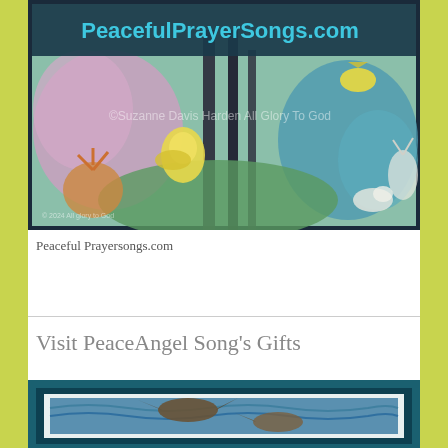[Figure (illustration): Colorful illustrated artwork showing birds, flowers, trees and nature scene with dark navy border. Header reads 'PeacefulPrayerSongs.com' on dark teal background. Watermark text reads '©Suzanne Davis Harden All Glory To God'.]
Peaceful Prayersongs.com
Visit PeaceAngel Song's Gifts
[Figure (illustration): Illustrated artwork with teal/dark blue border showing birds (possibly herons or cranes) with blue wavy background.]